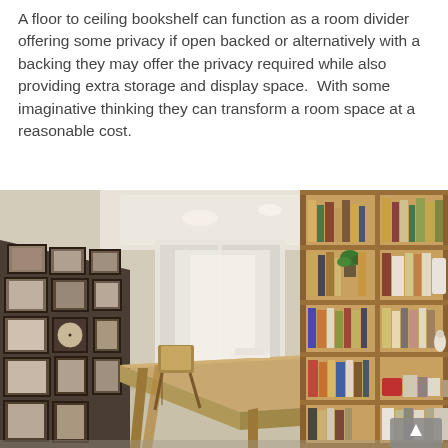A floor to ceiling bookshelf can function as a room divider offering some privacy if open backed or alternatively with a backing they may offer the privacy required while also providing extra storage and display space.  With some imaginative thinking they can transform a room space at a reasonable cost.
[Figure (photo): Interior room photo showing a long wooden dining table with a chair, a wall covered in framed artwork/maps on the left, and a large floor-to-ceiling wooden bookshelf filled with books and decorative items on the right. The room has recessed ceiling lighting and sheer curtains at the far end.]